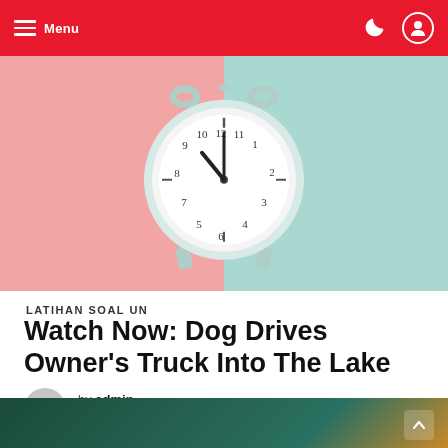Menu
[Figure (photo): An alarm clock centered on a split background — left half pink, right half mint/teal — shot from above on a flat surface.]
LATIHAN SOAL UN
Watch Now: Dog Drives Owner's Truck Into The Lake
by admin · 7 years ago
[Figure (photo): Partial view of a dark teal background with green leaves and an orange citrus slice, bottom of page.]